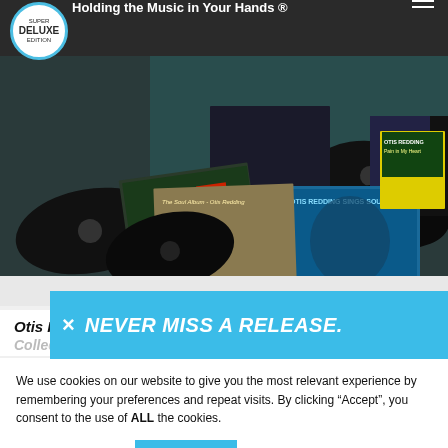Super Deluxe Edition — Holding the Music in Your Hands ®
[Figure (photo): Collection of Otis Redding vinyl record albums fanned out, showing multiple LP covers and black vinyl discs against a dark background]
Otis Redding: The Definitive Studio Album Collection
[Figure (infographic): Blue banner overlay with white X close button and text 'NEVER MISS A RELEASE.']
We use cookies on our website to give you the most relevant experience by remembering your preferences and repeat visits. By clicking "Accept", you consent to the use of ALL the cookies.
Cookie settings   ACCEPT